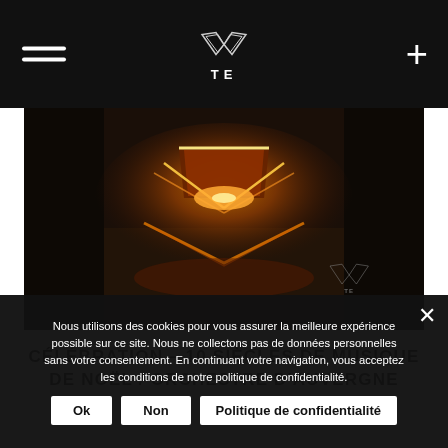TE (logo with navigation hamburger menu and plus button)
[Figure (photo): Dark atmospheric photo of glowing orange/amber light forming chevron/pyramid shape on dark textured surface, with TE watermark logo in bottom right corner]
CÉLÉBRATION – 10 SIÈCLES DE MUSIQUE DE NOËL / ORCHESTRE D'AUVERGNE
Nous utilisons des cookies pour vous assurer la meilleure expérience possible sur ce site. Nous ne collectons pas de données personnelles sans votre consentement. En continuant votre navigation, vous acceptez les conditions de notre politique de confidentialité.
Ok
Non
Politique de confidentialité